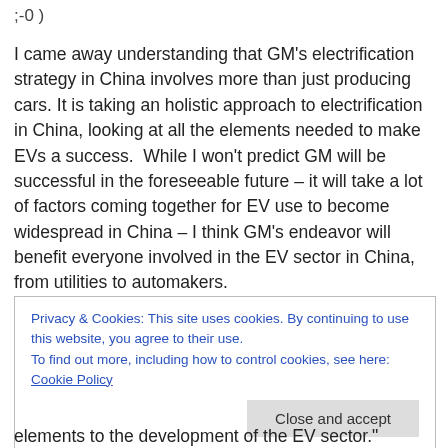;-0 )
I came away understanding that GM's electrification strategy in China involves more than just producing cars. It is taking an holistic approach to electrification in China, looking at all the elements needed to make EVs a success.  While I won't predict GM will be successful in the foreseeable future – it will take a lot of factors coming together for EV use to become widespread in China – I think GM's endeavor will benefit everyone involved in the EV sector in China, from utilities to automakers.
Privacy & Cookies: This site uses cookies. By continuing to use this website, you agree to their use.
To find out more, including how to control cookies, see here: Cookie Policy
[Close and accept]
elements to the development of the EV sector."